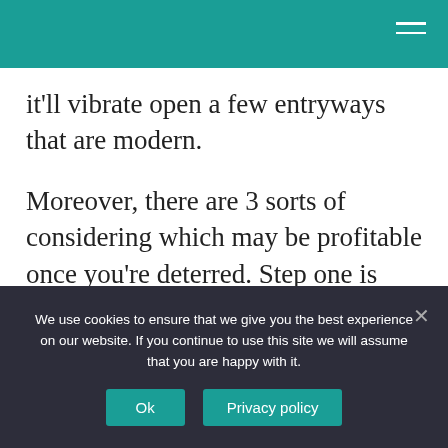it'll vibrate open a few entryways that are modern.
Moreover, there are 3 sorts of considering which may be profitable once you're deterred. Step one is recognizable: See stuff exceptionally comparable to everything it is you're composing. Consider those books in respect to the conclusions their creators
We use cookies to ensure that we give you the best experience on our website. If you continue to use this site we will assume that you are happy with it.